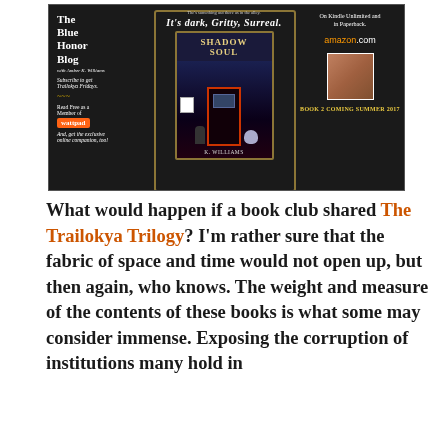[Figure (illustration): Book promotion banner for 'Shadow Soul' by K. Williams, showing The Blue Honor Blog branding on the left, a fantasy novel cover in the center with the tagline 'It's dark, gritty, surreal', and on the right information about the book being available on Kindle Unlimited and Amazon.com, with a photo of the author and text 'Book 2 Coming Summer 2017'.]
What would happen if a book club shared The Trailokya Trilogy? I'm rather sure that the fabric of space and time would not open up, but then again, who knows. The weight and measure of the contents of these books is what some may consider immense. Exposing the corruption of institutions many hold in